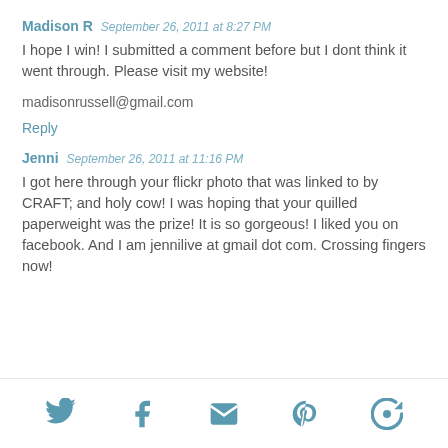Madison R   September 26, 2011 at 8:27 PM
I hope I win! I submitted a comment before but I dont think it went through. Please visit my website!
madisonrussell@gmail.com
Reply
Jenni   September 26, 2011 at 11:16 PM
I got here through your flickr photo that was linked to by CRAFT; and holy cow! I was hoping that your quilled paperweight was the prize! It is so gorgeous! I liked you on facebook. And I am jennilive at gmail dot com. Crossing fingers now!
[Figure (infographic): Social media share icons at bottom: Twitter bird, Facebook f, envelope/email, Pinterest p, and a feed/refresh icon, all in teal/slate blue color]